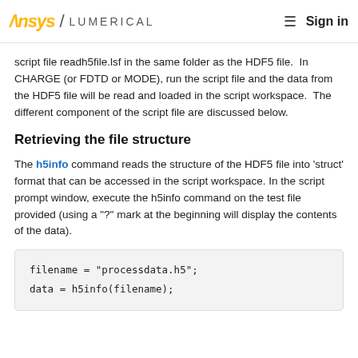Ansys / LUMERICAL   Sign in
script file readh5file.lsf in the same folder as the HDF5 file.  In CHARGE (or FDTD or MODE), run the script file and the data from the HDF5 file will be read and loaded in the script workspace.  The different component of the script file are discussed below.
Retrieving the file structure
The h5info command reads the structure of the HDF5 file into 'struct' format that can be accessed in the script workspace. In the script prompt window, execute the h5info command on the test file provided (using a "?" mark at the beginning will display the contents of the data).
filename = "processdata.h5";
data = h5info(filename);